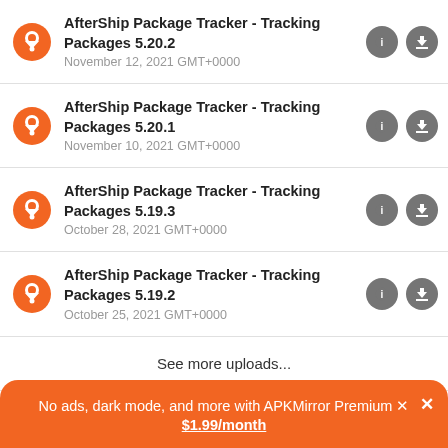AfterShip Package Tracker - Tracking Packages 5.20.2
November 12, 2021 GMT+0000
AfterShip Package Tracker - Tracking Packages 5.20.1
November 10, 2021 GMT+0000
AfterShip Package Tracker - Tracking Packages 5.19.3
October 28, 2021 GMT+0000
AfterShip Package Tracker - Tracking Packages 5.19.2
October 25, 2021 GMT+0000
See more uploads...
No ads, dark mode, and more with APKMirror Premium ✕
$1.99/month